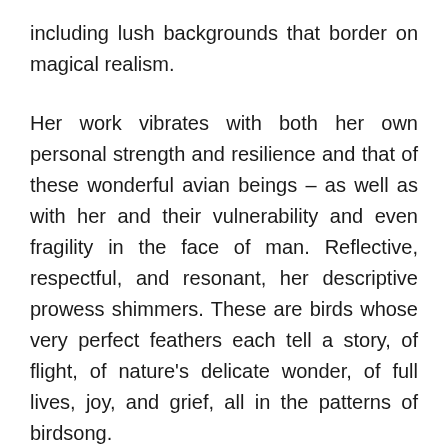including lush backgrounds that border on magical realism.
Her work vibrates with both her own personal strength and resilience and that of these wonderful avian beings – as well as with her and their vulnerability and even fragility in the face of man. Reflective, respectful, and resonant, her descriptive prowess shimmers. These are birds whose very perfect feathers each tell a story, of flight, of nature's delicate wonder, of full lives, joy, and grief, all in the patterns of birdsong.
There is a transformative quality to the work, one